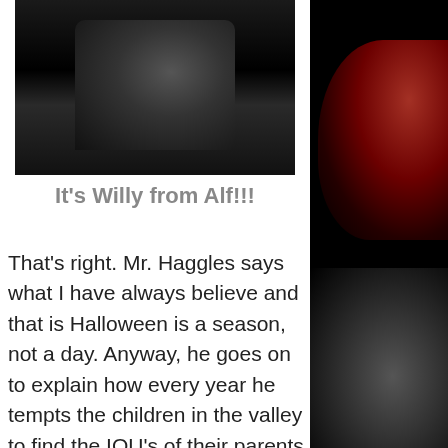[Figure (photo): Black and white screenshot from a TV show showing two people in dark clothing, one appearing to gesture with their hands]
It's Willy from Alf!!!
That's right. Mr. Haggles says what I have always believe and that is Halloween is a season, not a day. Anyway, he goes on to explain how every year he tempts the children in the valley to find the IOU's of their parents that he